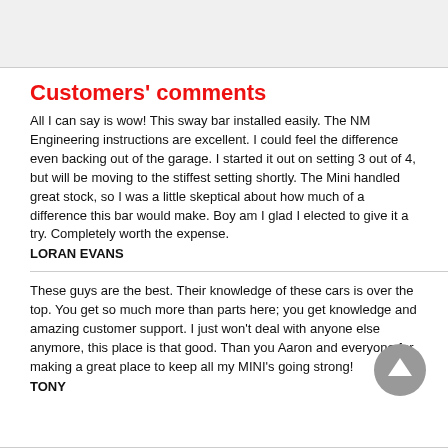[Figure (other): Gray header bar at top of page]
Customers' comments
All I can say is wow! This sway bar installed easily. The NM Engineering instructions are excellent. I could feel the difference even backing out of the garage. I started it out on setting 3 out of 4, but will be moving to the stiffest setting shortly. The Mini handled great stock, so I was a little skeptical about how much of a difference this bar would make. Boy am I glad I elected to give it a try. Completely worth the expense.
LORAN EVANS
These guys are the best. Their knowledge of these cars is over the top. You get so much more than parts here; you get knowledge and amazing customer support. I just won't deal with anyone else anymore, this place is that good. Than you Aaron and everyone for making a great place to keep all my MINI's going strong!
TONY